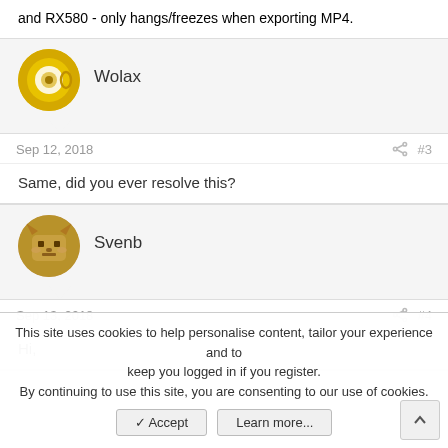and RX580 - only hangs/freezes when exporting MP4.
Wolax
Sep 12, 2018  #3
Same, did you ever resolve this?
Svenb
Sep 13, 2018  #4
Hi,
This site uses cookies to help personalise content, tailor your experience and to keep you logged in if you register.
By continuing to use this site, you are consenting to our use of cookies.
✓ Accept   Learn more...